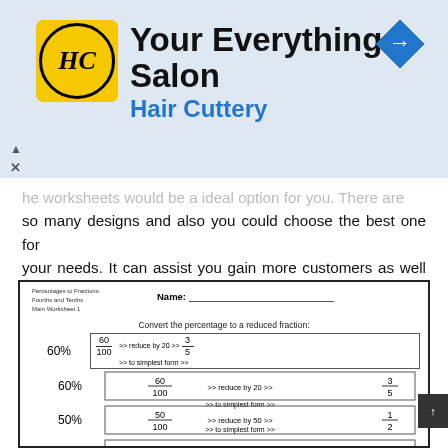[Figure (logo): Hair Cuttery ad banner with logo, 'Your Everything Salon' title, 'Hair Cuttery' subtitle, and navigation icon]
he worksheets would be a ideal option for you. There are so many designs and also you could choose the best one for your needs. It can assist you gain more customers as well as can provide a positive impact on your business.
[Figure (other): Math worksheet: Percentages to Fractions (Fourths and Tenths, Main Worksheet 1). Convert the percentage to a reduced fraction. Shows 60%, 50%, 80%, 10%, 50% with fraction reduction steps to simplest form.]